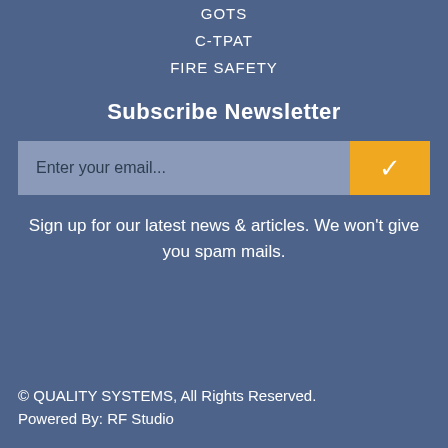GOTS
C-TPAT
FIRE SAFETY
Subscribe Newsletter
Enter your email...
Sign up for our latest news & articles. We won't give you spam mails.
© QUALITY SYSTEMS, All Rights Reserved. Powered By: RF Studio